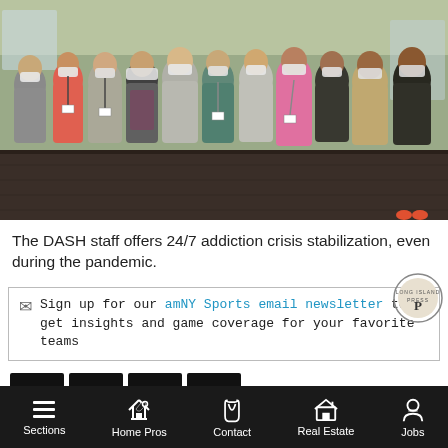[Figure (photo): Group photo of DASH staff members wearing face masks, standing in a hospital hallway. Approximately 13 people, diverse group, wearing lanyards/badges.]
The DASH staff offers 24/7 addiction crisis stabilization, even during the pandemic.
Sign up for our amNY Sports email newsletter to get insights and game coverage for your favorite teams
[Figure (other): Social media and share buttons: Facebook, Twitter, Print, and More (+)]
Suffolk County Executive Steve Bellone has...
Sections | Home Pros | Contact | Real Estate | Jobs